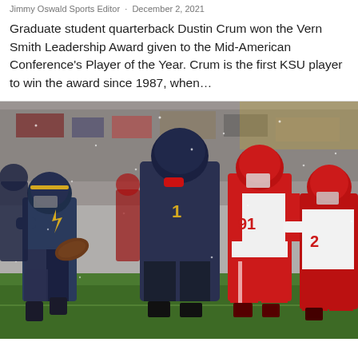Jimmy Oswald Sports Editor · December 2, 2021
Graduate student quarterback Dustin Crum won the Vern Smith Leadership Award given to the Mid-American Conference's Player of the Year. Crum is the first KSU player to win the award since 1987, when...
[Figure (photo): Football game action photo showing a quarterback in navy/gold Kent State uniform carrying the ball, being pursued by opposing players in red and white uniforms, on a snowy day at a stadium.]